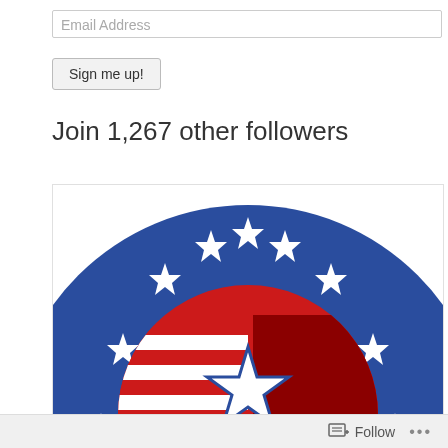Email Address
Sign me up!
Join 1,267 other followers
[Figure (logo): Patriotic circular logo with dark blue background, white stars arranged in arc, center globe/ball with American flag motif (red and white stripes, red and white sections), and a large white star in the center. The lower half is cut off showing just the top semicircle.]
Follow
...